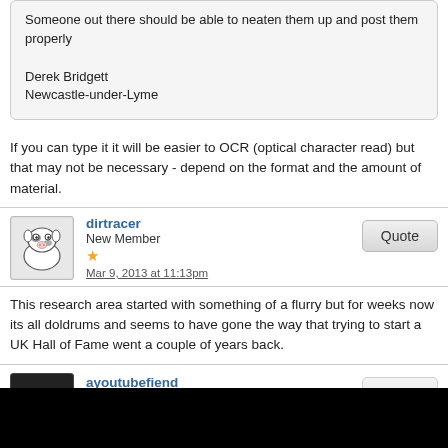Someone out there should be able to neaten them up and post them properly

Derek Bridgett
Newcastle-under-Lyme
If you can type it it will be easier to OCR (optical character read) but that may not be necessary - depend on the format and the amount of material.
dirtracer
New Member
Mar 9, 2013 at 11:13pm
This research area started with something of a flurry but for weeks now its all doldrums and seems to have gone the way that trying to start a UK Hall of Fame went a couple of years back.
ayoutubefiend
New Member